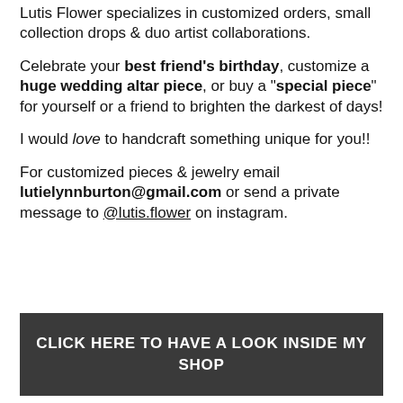Lutis Flower specializes in customized orders, small collection drops & duo artist collaborations.
Celebrate your best friend's birthday, customize a huge wedding altar piece, or buy a "special piece" for yourself or a friend to brighten the darkest of days!
I would love to handcraft something unique for you!!
For customized pieces & jewelry email lutielynnburton@gmail.com or send a private message to @lutis.flower on instagram.
CLICK HERE TO HAVE A LOOK INSIDE MY SHOP